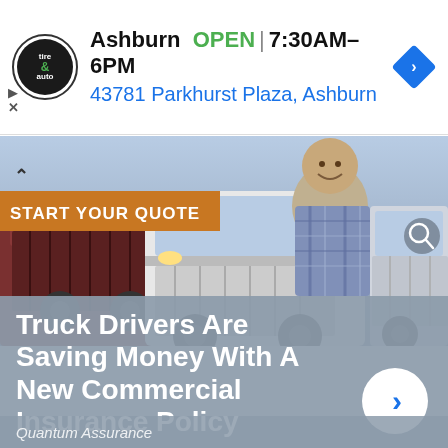[Figure (screenshot): Advertisement banner for a tire and auto service. Shows circular logo with 'tire & auto' text, location 'Ashburn', green 'OPEN' text, hours '7:30AM–6PM', address '43781 Parkhurst Plaza, Ashburn', and a blue diamond navigation icon.]
[Figure (photo): Photo of a smiling truck driver in a plaid shirt standing in front of large commercial semi-trucks. Orange banner overlay reads 'START YOUR QUOTE'. Below the photo on a gray overlay: 'Truck Drivers Are Saving Money With A New Commercial Insurance Policy' with a white circle arrow button. Brand name 'Quantum Assurance' at bottom.]
Truck Drivers Are Saving Money With A New Commercial Insurance Policy
Quantum Assurance